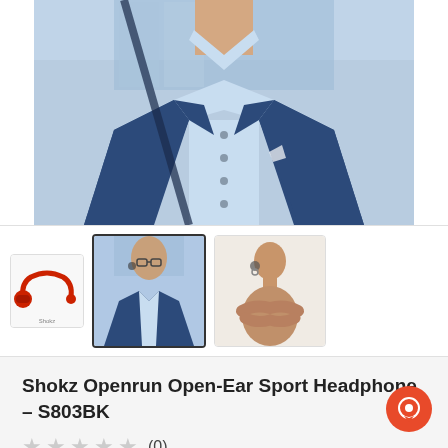[Figure (photo): Main product photo: man in blue suit and light blue dress shirt, torso visible, shown wearing open-ear headphones]
[Figure (photo): Thumbnail 1: Red/maroon Shokz open-ear headphone device alone on white background]
[Figure (photo): Thumbnail 2 (selected): Man in blue suit wearing open-ear headphones, side profile]
[Figure (photo): Thumbnail 3: Shirtless person with arms crossed wearing open-ear headphones, side profile]
Shokz Openrun Open-Ear Sport Headphone – S803BK
(0)